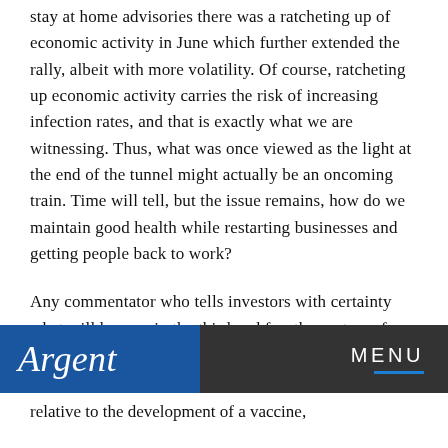stay at home advisories there was a ratcheting up of economic activity in June which further extended the rally, albeit with more volatility. Of course, ratcheting up economic activity carries the risk of increasing infection rates, and that is exactly what we are witnessing. Thus, what was once viewed as the light at the end of the tunnel might actually be an oncoming train. Time will tell, but the issue remains, how do we maintain good health while restarting businesses and getting people back to work?
Any commentator who tells investors with certainty what will happen in the third and fourth quarters of 2020 is either overly confident in their abilities, or a con-artist.
Argent | MENU
relative to the development of a vaccine,